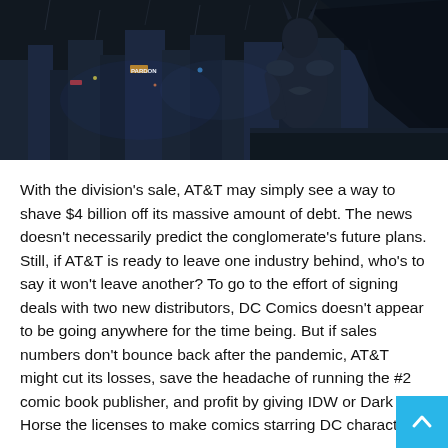[Figure (photo): Dark nighttime cityscape scene with armored Batman-like figure in the foreground overlooking a rain-soaked Gotham city with neon signs and lights in the background]
With the division's sale, AT&T may simply see a way to shave $4 billion off its massive amount of debt. The news doesn't necessarily predict the conglomerate's future plans. Still, if AT&T is ready to leave one industry behind, who's to say it won't leave another? To go to the effort of signing deals with two new distributors, DC Comics doesn't appear to be going anywhere for the time being. But if sales numbers don't bounce back after the pandemic, AT&T might cut its losses, save the headache of running the #2 comic book publisher, and profit by giving IDW or Dark Horse the licenses to make comics starring DC characters.